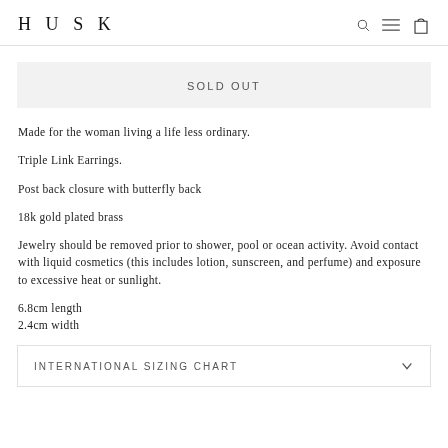HUSK
SOLD OUT
Made for the woman living a life less ordinary.
Triple Link Earrings.
Post back closure with butterfly back
18k gold plated brass
Jewelry should be removed prior to shower, pool or ocean activity. Avoid contact with liquid cosmetics (this includes lotion, sunscreen, and perfume) and exposure to excessive heat or sunlight.
6.8cm length
2.4cm width
INTERNATIONAL SIZING CHART